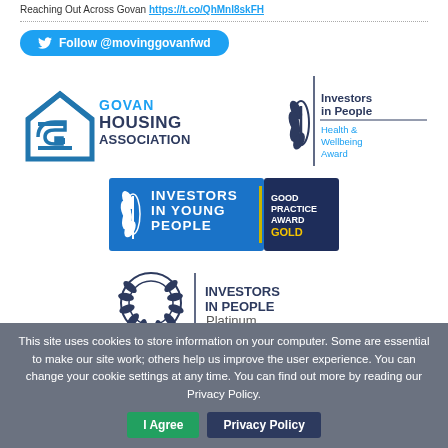Reaching Out Across Govan https://t.co/QhMnl8skFH
[Figure (logo): Twitter Follow button: Follow @movinggovanfwd]
[Figure (logo): Govan Housing Association logo - house icon with text GOVAN HOUSING ASSOCIATION in blue]
[Figure (logo): Investors in People Health & Wellbeing Award logo - laurel wreath with text]
[Figure (logo): Investors in Young People Good Practice Award Gold logo - blue banner with laurel leaf and gold text]
[Figure (logo): Investors in People Platinum Until 2019 logo - circular laurel wreath with text]
This site uses cookies to store information on your computer. Some are essential to make our site work; others help us improve the user experience. You can change your cookie settings at any time. You can find out more by reading our Privacy Policy.
I Agree | Privacy Policy